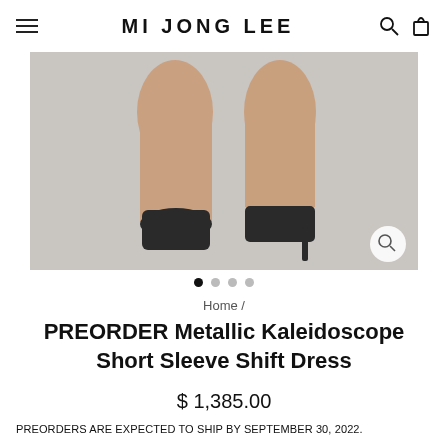MI JONG LEE
[Figure (photo): Cropped photo of a model's legs wearing black high-heel pumps on a light gray background, with a magnify/zoom icon in the bottom right corner.]
Home /
PREORDER Metallic Kaleidoscope Short Sleeve Shift Dress
$ 1,385.00
PREORDERS ARE EXPECTED TO SHIP BY SEPTEMBER 30, 2022.